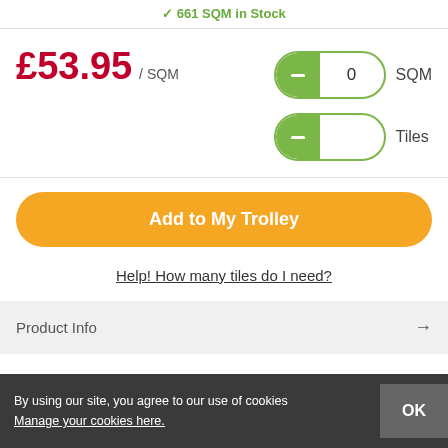✔ 661 SQM in Stock
£53.95 / SQM
[Figure (screenshot): Quantity stepper control showing 0 SQM with green toggle button on left]
[Figure (screenshot): Quantity stepper control for Tiles with green toggle button on left, no value shown]
Add to My Trolley
Help! How many tiles do I need?
Product Info →
By using our site, you agree to our use of cookies
Manage your cookies here.
OK